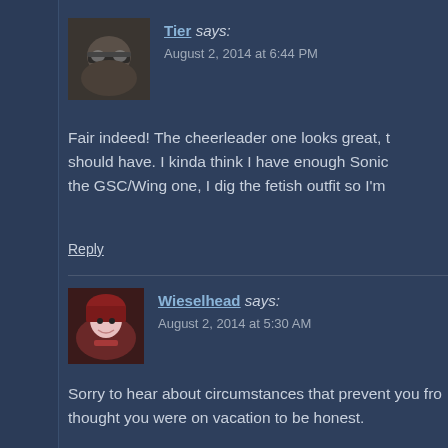[Figure (photo): Avatar image for user Tier - dark colored avatar with goggles/mask]
Tier says:
August 2, 2014 at 6:44 PM
Fair indeed! The cheerleader one looks great, t should have. I kinda think I have enough Sonic the GSC/Wing one, I dig the fetish outfit so I'm
Reply
[Figure (photo): Avatar image for user Wieselhead - anime-style girl with dark red hair]
Wieselhead says:
August 2, 2014 at 5:30 AM
Sorry to hear about circumstances that prevent you fro thought you were on vacation to be honest.
Oh that was supposed to be Charlotte, ahhhhhhhh and No, I'll never order Griffon again, ths is not my kind of qu figure, will dissapoint me, I will group them together with